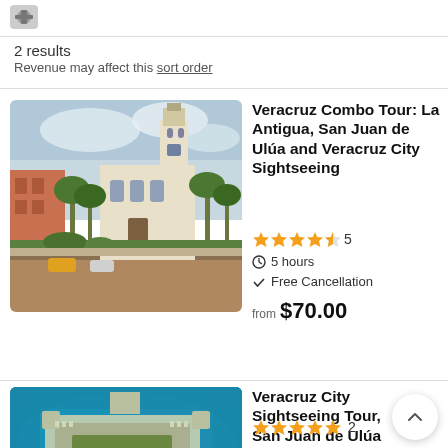[Figure (logo): App logo placeholder top left]
2 results
Revenue may affect this sort order
[Figure (photo): Photo of Veracruz city street with white colonial church tower, palm trees, and cars]
Veracruz Combo Tour: La Antigua, San Juan de Ulúa and Veracruz City Sightseeing
★★★★½ 5
5 hours
Free Cancellation
from $70.00
[Figure (photo): Aerial photo of San Juan de Ulúa fortress/castle surrounded by water, with aquarium dome visible]
Veracruz City Sightseeing Tour, San Juan de Ulúa Castle Aquarium
★★★★★ 2